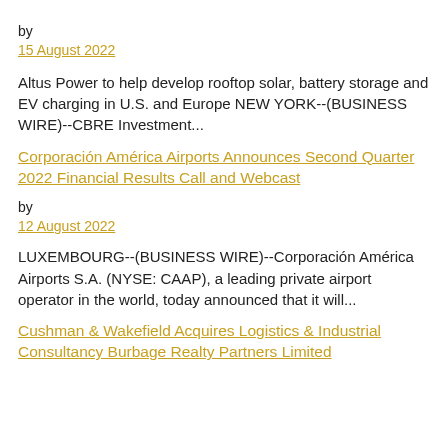by
15 August 2022
Altus Power to help develop rooftop solar, battery storage and EV charging in U.S. and Europe NEW YORK--(BUSINESS WIRE)--CBRE Investment...
Corporación América Airports Announces Second Quarter 2022 Financial Results Call and Webcast
by
12 August 2022
LUXEMBOURG--(BUSINESS WIRE)--Corporación América Airports S.A. (NYSE: CAAP), a leading private airport operator in the world, today announced that it will...
Cushman & Wakefield Acquires Logistics & Industrial Consultancy Burbage Realty Partners Limited